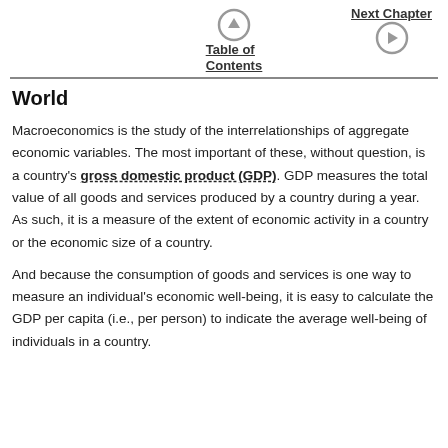Table of Contents | Next Chapter
World
Macroeconomics is the study of the interrelationships of aggregate economic variables. The most important of these, without question, is a country's gross domestic product (GDP). GDP measures the total value of all goods and services produced by a country during a year. As such, it is a measure of the extent of economic activity in a country or the economic size of a country.
And because the consumption of goods and services is one way to measure an individual's economic well-being, it is easy to calculate the GDP per capita (i.e., per person) to indicate the average well-being of individuals in a country.